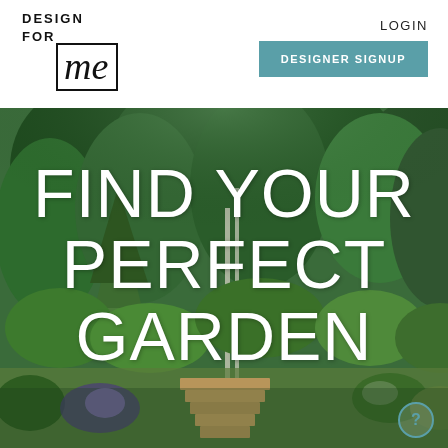[Figure (logo): DesignForMe logo with 'DESIGN FOR' in bold uppercase and 'me' in italic serif inside a rectangle border]
LOGIN
DESIGNER SIGNUP
[Figure (photo): Lush green garden with trees, shrubs, flowering plants, stone steps, and a winding path]
FIND YOUR PERFECT GARDEN